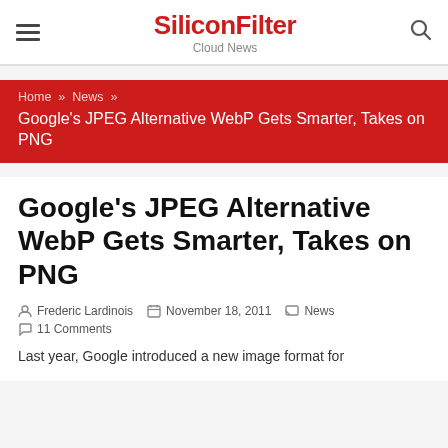SiliconFilter
Cloud News
Home » News » Google's JPEG Alternative WebP Gets Smarter, Takes on PNG
Google's JPEG Alternative WebP Gets Smarter, Takes on PNG
Frederic Lardinois  November 18, 2011  News
11 Comments
Last year, Google introduced a new image format for